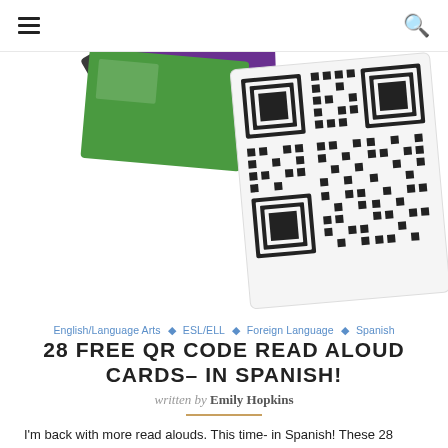≡   🔍
[Figure (photo): Fan of colorful book/flash cards with a QR code visible on one card, spread out on a white background]
English/Language Arts ◇ ESL/ELL ◇ Foreign Language ◇ Spanish
28 FREE QR CODE READ ALOUD CARDS– IN SPANISH!
written by Emily Hopkins
I'm back with more read alouds. This time- in Spanish! These 28 stories are available thanks to Scholastic Storybook Treasures, and they have stories in Mandarin as well. If you're teaching Spanish as a second language, teaching in a bilingual setting, or if you have Spanish-